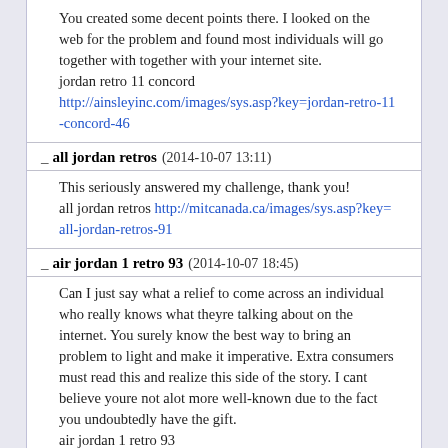You created some decent points there. I looked on the web for the problem and found most individuals will go together with together with your internet site.
jordan retro 11 concord
http://ainsleyinc.com/images/sys.asp?key=jordan-retro-11-concord-46
_ all jordan retros (2014-10-07 13:11)
This seriously answered my challenge, thank you!
all jordan retros http://mitcanada.ca/images/sys.asp?key=all-jordan-retros-91
_ air jordan 1 retro 93 (2014-10-07 18:45)
Can I just say what a relief to come across an individual who really knows what theyre talking about on the internet. You surely know the best way to bring an problem to light and make it imperative. Extra consumers must read this and realize this side of the story. I cant believe youre not alot more well-known due to the fact you undoubtedly have the gift.
air jordan 1 retro 93
http://raymondeperron.com/images/gallerie/sys.asp?key=air-jordan-1-retro-93-82
_ cheap jordan shoes for men (2014-10-07 18:46)